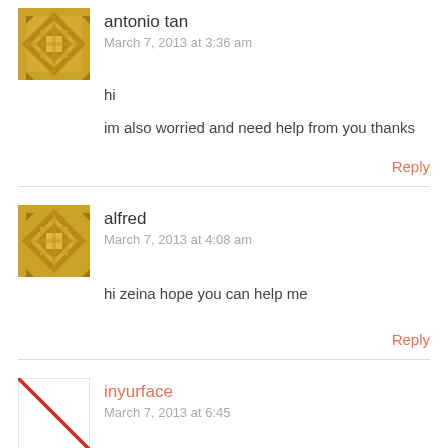[Figure (illustration): Gold/tan decorative tile avatar for antonio tan]
antonio tan
March 7, 2013 at 3:36 am
hi
im also worried and need help from you thanks
Reply
[Figure (illustration): Gold/tan decorative tile avatar for alfred]
alfred
March 7, 2013 at 4:08 am
hi zeina hope you can help me
Reply
[Figure (illustration): Red X / broken image placeholder avatar for inyurface]
inyurface
March 7, 2013 at 6:45